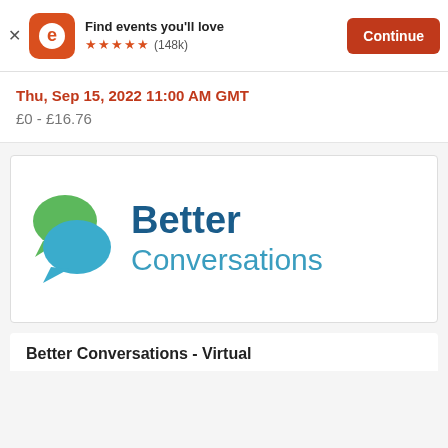[Figure (screenshot): Eventbrite app banner with orange rounded-square logo showing white 'e', 'Find events you'll love' text, five orange stars rating with (148k) reviews, and orange 'Continue' button]
Thu, Sep 15, 2022 11:00 AM GMT
£0 - £16.76
[Figure (logo): Better Conversations logo: two overlapping speech bubbles (green and blue) on the left, with 'Better' in dark blue bold and 'Conversations' in lighter blue below]
Better Conversations - Virtual